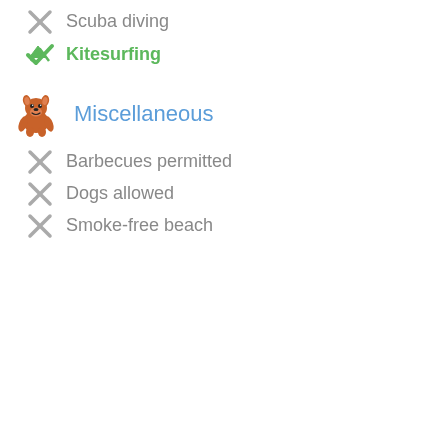Scuba diving
Kitesurfing
Miscellaneous
Barbecues permitted
Dogs allowed
Smoke-free beach